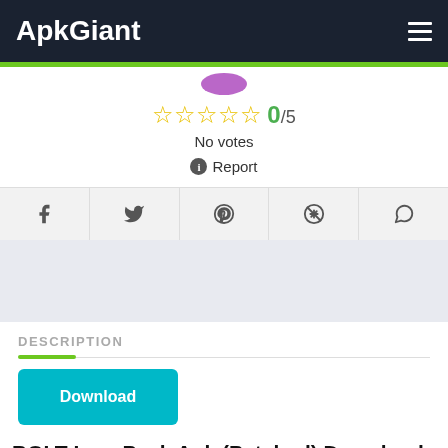ApkGiant
[Figure (other): Star rating showing 0/5 with 5 empty star outlines]
No votes
Report
[Figure (other): Social share buttons: Facebook, Twitter, Pinterest, Telegram, WhatsApp]
[Figure (other): Advertisement placeholder area]
DESCRIPTION
Download
BOLT Icon Pack Apk (Patched) Download